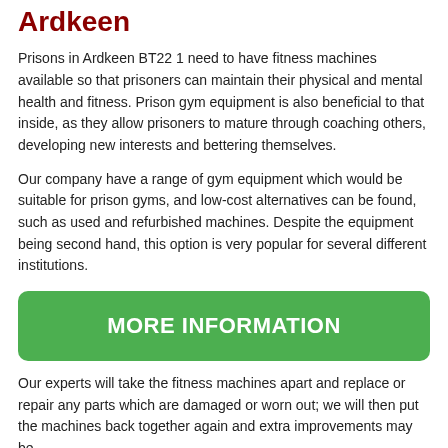Prison Gym Equipment in Ardkeen
Prisons in Ardkeen BT22 1 need to have fitness machines available so that prisoners can maintain their physical and mental health and fitness. Prison gym equipment is also beneficial to that inside, as they allow prisoners to mature through coaching others, developing new interests and bettering themselves.
Our company have a range of gym equipment which would be suitable for prison gyms, and low-cost alternatives can be found, such as used and refurbished machines. Despite the equipment being second hand, this option is very popular for several different institutions.
[Figure (other): Green rounded button with white bold text reading MORE INFORMATION]
Our experts will take the fitness machines apart and replace or repair any parts which are damaged or worn out; we will then put the machines back together again and extra improvements may be also included in the application for open integer options.